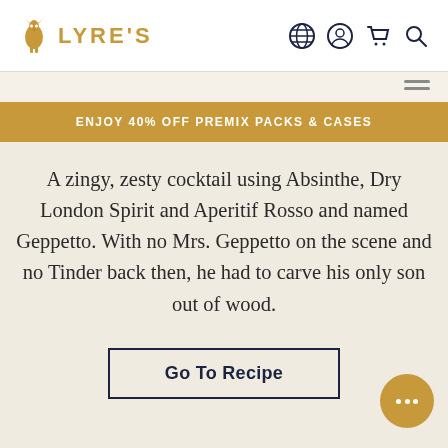LYRE'S
ENJOY 40% OFF PREMIX PACKS & CASES
A zingy, zesty cocktail using Absinthe, Dry London Spirit and Aperitif Rosso and named Geppetto. With no Mrs. Geppetto on the scene and no Tinder back then, he had to carve his only son out of wood.
Go To Recipe